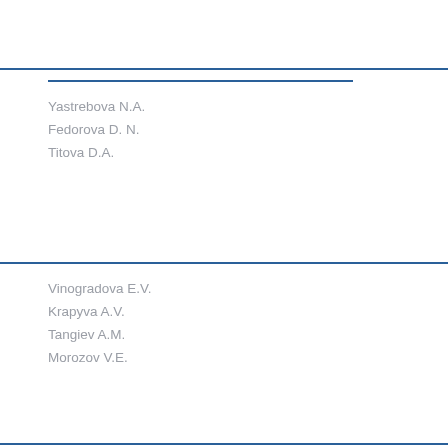Yastrebova N.A.
Fedorova D. N.
Titova D.A.
Vinogradova E.V.
Krapyva A.V.
Tangiev A.M.
Morozov V.E.